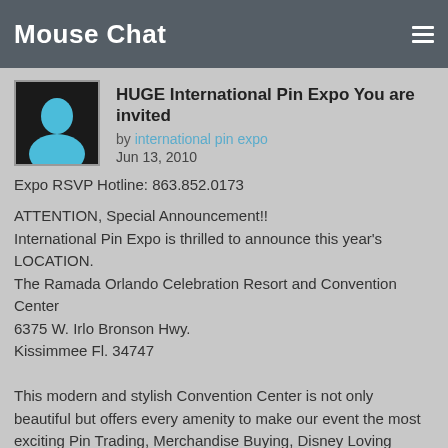Mouse Chat
HUGE International Pin Expo You are invited
by international pin expo
Jun 13, 2010
Expo RSVP Hotline: 863.852.0173
ATTENTION, Special Announcement!!
International Pin Expo is thrilled to announce this year's LOCATION.
The Ramada Orlando Celebration Resort and Convention Center
6375 W. Irlo Bronson Hwy.
Kissimmee Fl. 34747
This modern and stylish Convention Center is not only beautiful but offers every amenity to make our event the most exciting Pin Trading, Merchandise Buying, Disney Loving Event to hit Florida in years! We want to make August 26th thru Aug. 29th a grand festival for Pin Traders and Buyers alike with several after hour events, live auctions, Vinylmation booths, and all around fun for everyone while we are all in